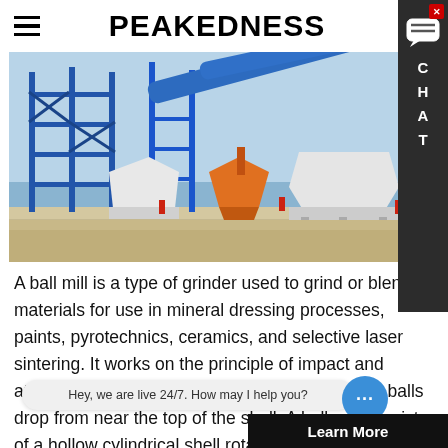PEAKEDNESS
[Figure (photo): Industrial construction plant with blue steel framework structures, conveyor belts, orange excavator bucket, and white aggregate storage bins on a concrete platform.]
A ball mill is a type of grinder used to grind or blend materials for use in mineral dressing processes, paints, pyrotechnics, ceramics, and selective laser sintering. It works on the principle of impact and attrition: size reduction is done by impact as the balls drop from near the top of the shell. A ball mill consists of a hollow cylindrical shell rotating about its axis. The axis of the shell may be either horizontal or at a small angle to the horizontal. It is partially filled with balls. T